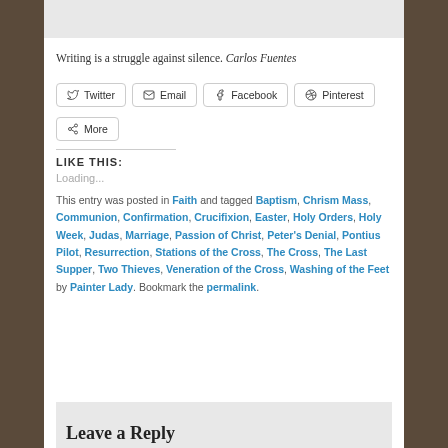Writing is a struggle against silence. Carlos Fuentes
Twitter
Email
Facebook
Pinterest
More
LIKE THIS:
Loading...
This entry was posted in Faith and tagged Baptism, Chrism Mass, Communion, Confirmation, Crucifixion, Easter, Holy Orders, Holy Week, Judas, Marriage, Passion of Christ, Peter's Denial, Pontius Pilot, Resurrection, Stations of the Cross, The Cross, The Last Supper, Two Thieves, Veneration of the Cross, Washing of the Feet by Painter Lady. Bookmark the permalink.
Leave a Reply